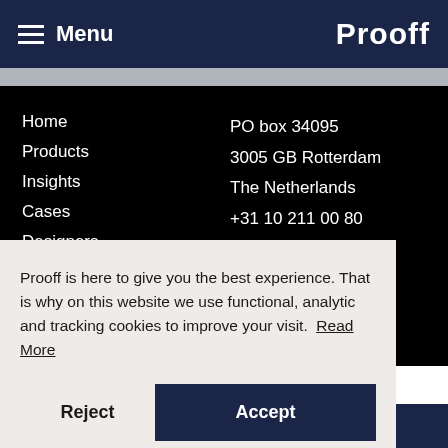Menu | Prooff
Home
Products
Insights
Cases
Designers
PO box 34095
3005 GB Rotterdam
The Netherlands
+31 10 211 00 80
contact@prooff.com
Prooff is here to give you the best experience. That is why on this website we use functional, analytic and tracking cookies to improve your visit. Read More
Reject
Accept
Social media icons: Twitter, LinkedIn, Facebook, Pinterest, Instagram, Email